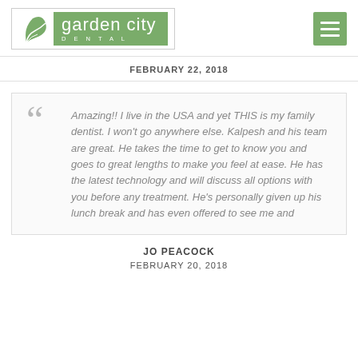[Figure (logo): Garden City Dental logo with green leaf graphic and green banner with text 'garden city DENTAL']
FEBRUARY 22, 2018
Amazing!! I live in the USA and yet THIS is my family dentist. I won't go anywhere else. Kalpesh and his team are great. He takes the time to get to know you and goes to great lengths to make you feel at ease. He has the latest technology and will discuss all options with you before any treatment. He's personally given up his lunch break and has even offered to see me and
JO PEACOCK
FEBRUARY 20, 2018